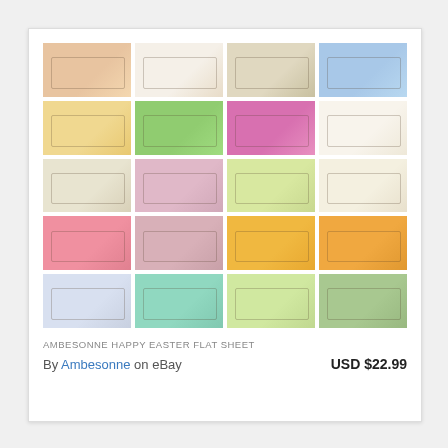[Figure (photo): Grid of 20 product photos showing Easter-themed flat sheets on beds, arranged in 5 rows of 4 columns]
AMBESONNE HAPPY EASTER FLAT SHEET
By Ambesonne  on eBay
USD $22.99